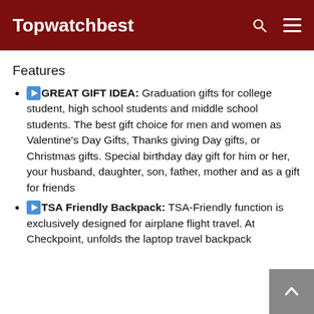Topwatchbest
Features
▶GREAT GIFT IDEA: Graduation gifts for college student, high school students and middle school students. The best gift choice for men and women as Valentine's Day Gifts, Thanks giving Day gifts, or Christmas gifts. Special birthday day gift for him or her, your husband, daughter, son, father, mother and as a gift for friends
▶TSA Friendly Backpack: TSA-Friendly function is exclusively designed for airplane flight travel. At Checkpoint, unfolds the laptop travel backpack